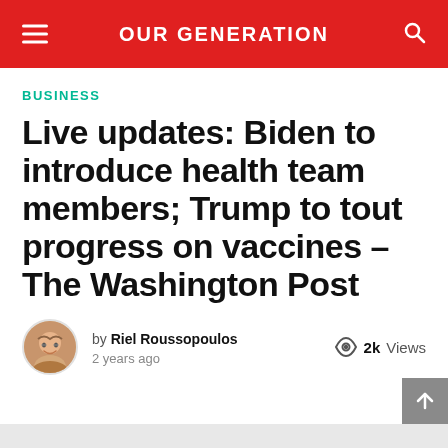OUR GENERATION
BUSINESS
Live updates: Biden to introduce health team members; Trump to tout progress on vaccines – The Washington Post
by Riel Roussopoulos
2 years ago
2k Views